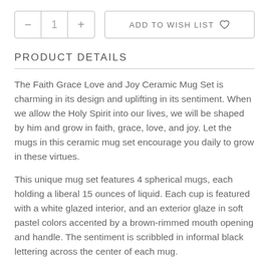PRODUCT DETAILS
The Faith Grace Love and Joy Ceramic Mug Set is charming in its design and uplifting in its sentiment. When we allow the Holy Spirit into our lives, we will be shaped by him and grow in faith, grace, love, and joy. Let the mugs in this ceramic mug set encourage you daily to grow in these virtues.
This unique mug set features 4 spherical mugs, each holding a liberal 15 ounces of liquid. Each cup is featured with a white glazed interior, and an exterior glaze in soft pastel colors accented by a brown-rimmed mouth opening and handle. The sentiment is scribbled in informal black lettering across the center of each mug.